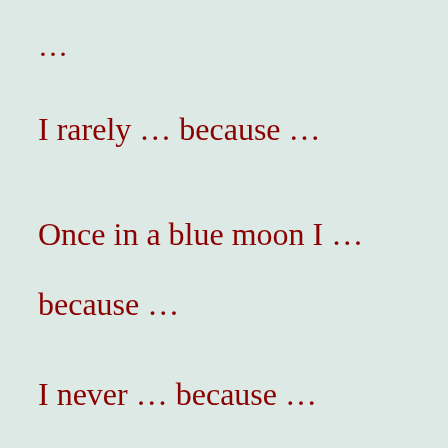…
I rarely … because …
Once in a blue moon I …
because …
I never … because …